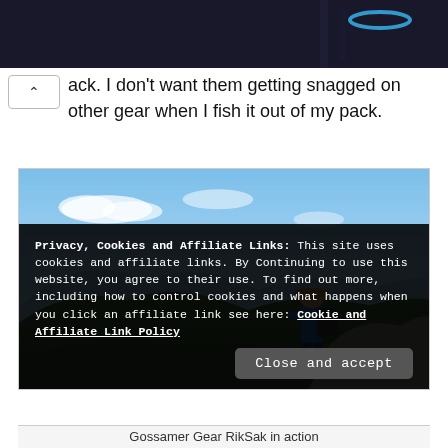[Figure (photo): Advertisement banner: 'Download Helbiz and ride' with dark background and bicycle handlebar image]
ack. I don't want them getting snagged on other gear when I fish it out of my pack.
[Figure (photo): Hiker with backpack and wide-brim hat sitting on a rock overlooking mountain ridges and sky. Gossamer Gear RikSak in action.]
Gossamer Gear RikSak in action
Privacy, Cookies and Affiliate Links: This site uses cookies and affiliate links. By Continuing to use this website, you agree to their use. To find out more, including how to control cookies and what happens when you click an affiliate link see here: Cookie and Affiliate Link Policy
Close and accept